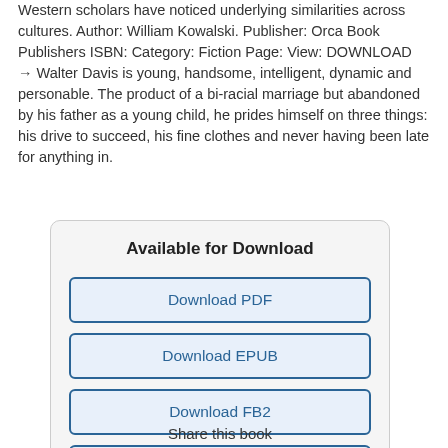Western scholars have noticed underlying similarities across cultures. Author: William Kowalski. Publisher: Orca Book Publishers ISBN: Category: Fiction Page: View: DOWNLOAD → Walter Davis is young, handsome, intelligent, dynamic and personable. The product of a bi-racial marriage but abandoned by his father as a young child, he prides himself on three things: his drive to succeed, his fine clothes and never having been late for anything in.
Available for Download
Download PDF
Download EPUB
Download FB2
Download MOBI
Download TXT
Share this book